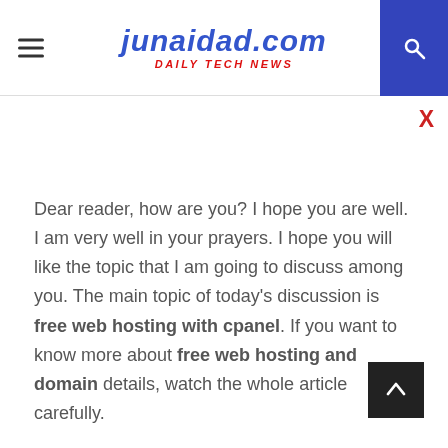junaidad.com DAILY TECH NEWS
Dear reader, how are you? I hope you are well. I am very well in your prayers. I hope you will like the topic that I am going to discuss among you. The main topic of today's discussion is free web hosting with cpanel. If you want to know more about free web hosting and domain details, watch the whole article carefully.